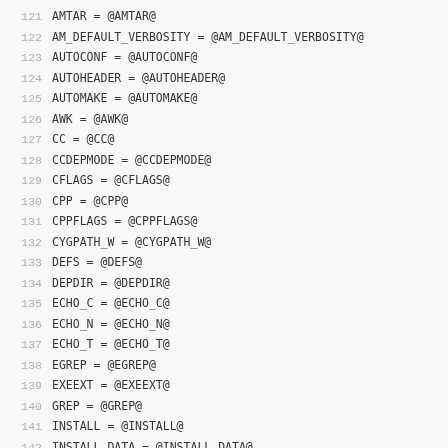121  AMTAR = @AMTAR@
122  AM_DEFAULT_VERBOSITY = @AM_DEFAULT_VERBOSITY@
123  AUTOCONF = @AUTOCONF@
124  AUTOHEADER = @AUTOHEADER@
125  AUTOMAKE = @AUTOMAKE@
126  AWK = @AWK@
127  CC = @CC@
128  CCDEPMODE = @CCDEPMODE@
129  CFLAGS = @CFLAGS@
130  CPP = @CPP@
131  CPPFLAGS = @CPPFLAGS@
132  CYGPATH_W = @CYGPATH_W@
133  DEFS = @DEFS@
134  DEPDIR = @DEPDIR@
135  ECHO_C = @ECHO_C@
136  ECHO_N = @ECHO_N@
137  ECHO_T = @ECHO_T@
138  EGREP = @EGREP@
139  EXEEXT = @EXEEXT@
140  GREP = @GREP@
141  INSTALL = @INSTALL@
142  INSTALL_DATA = @INSTALL_DATA@
143  INSTALL_PROGRAM = @INSTALL_PROGRAM@